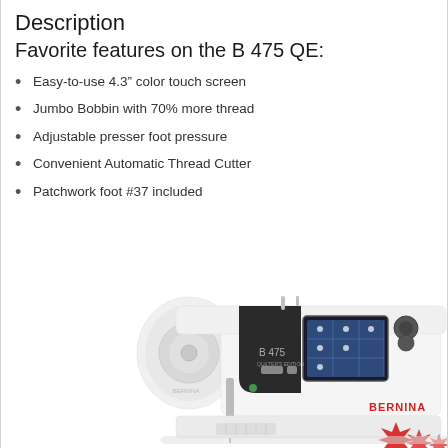Description
Favorite features on the B 475 QE:
Easy-to-use 4.3” color touch screen
Jumbo Bobbin with 70% more thread
Adjustable presser foot pressure
Convenient Automatic Thread Cutter
Patchwork foot #37 included
[Figure (photo): BERNINA B 475 sewing machine shown from the front-right angle, white body with color touch screen display, BERNINA logo in red on lower right, B 475 text on the machine body.]